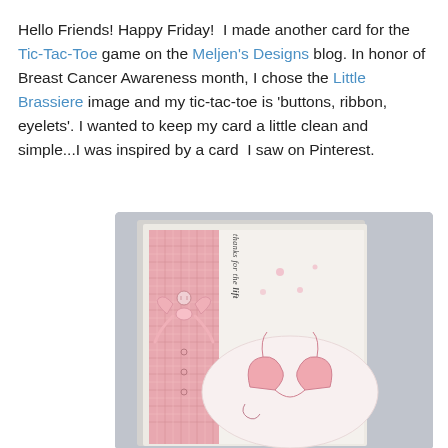Hello Friends! Happy Friday!  I made another card for the Tic-Tac-Toe game on the Meljen's Designs blog. In honor of Breast Cancer Awareness month, I chose the Little Brassiere image and my tic-tac-toe is 'buttons, ribbon, eyelets'. I wanted to keep my card a little clean and simple...I was inspired by a card  I saw on Pinterest.
[Figure (photo): A handmade greeting card featuring a pink gingham ribbon strip on the left side with a pink bow and button, and a stamped Little Brassiere image on a white oval on the right side. Text reads 'thanks for the lift' written vertically. Card is white with pink accents, photographed at an angle on a gray background.]